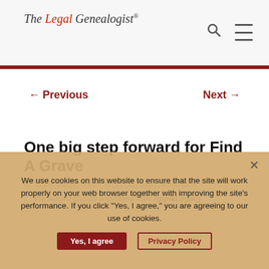The Legal Genealogist®
← Previous    Next →
One big step forward for Find A Grave
by Judy G. Russell | Oct 3, 2018 | Copyright | 23 comments
… the swiped photos originated from AppleLegacy
We use cookies on this website to ensure that the site will work properly on your web browser together with improving the site's performance. If you click "Yes, I agree," you are agreeing to our use of cookies.
Yes, I agree    Privacy Policy